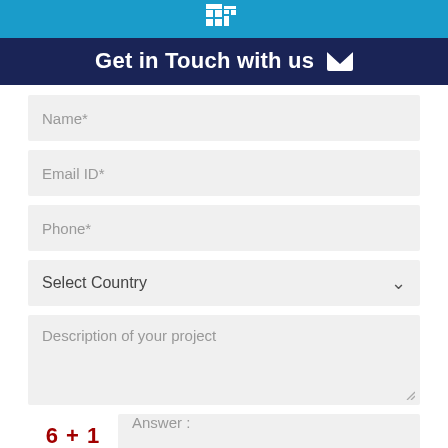[Figure (logo): White building/grid icon on blue bar at top]
Get in Touch with us ✉
Name*
Email ID*
Phone*
Select Country
Description of your project
6 + 1
Answer :
SUBMIT